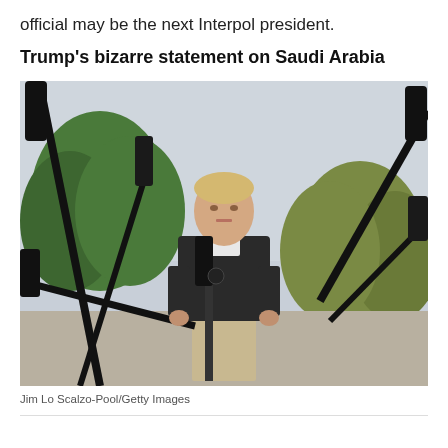official may be the next Interpol president.
Trump's bizarre statement on Saudi Arabia
[Figure (photo): A man in a dark jacket stands in front of multiple microphones on boom poles, with trees and overcast sky in the background. Photo by Jim Lo Scalzo-Pool/Getty Images.]
Jim Lo Scalzo-Pool/Getty Images